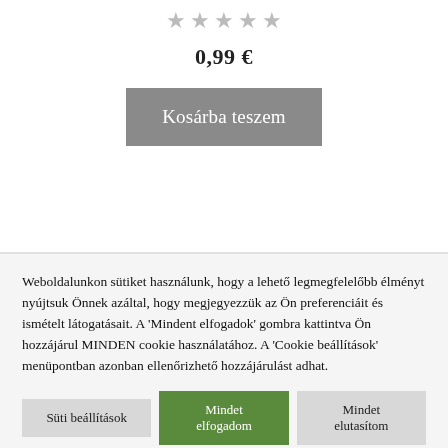[Figure (other): Five grey/silver star rating icons in a row]
0,99 €
Kosárba teszem
Weboldalunkon sütiket használunk, hogy a lehető legmegfelelőbb élményt nyújtsuk Önnek azáltal, hogy megjegyezzük az Ön preferenciáit és ismételt látogatásait. A 'Mindent elfogadok' gombra kattintva Ön hozzájárul MINDEN cookie használatához. A 'Cookie beállítások' menüpontban azonban ellenőrizhető hozzájárulást adhat.
Süti beállítások
Mindet elfogadom
Mindet elutasítom